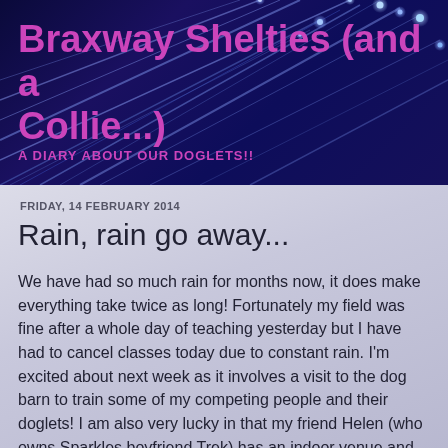[Figure (photo): Dark blue and purple fiber optic cables background with glowing light dots, serving as the blog header image]
Braxway Shelties (and a Collie...)
A DIARY ABOUT OUR DOGLETS!!
FRIDAY, 14 FEBRUARY 2014
Rain, rain go away...
We have had so much rain for months now, it does make everything take twice as long! Fortunately my field was fine after a whole day of teaching yesterday but I have had to cancel classes today due to constant rain. I'm excited about next week as it involves a visit to the dog barn to train some of my competing people and their doglets! I am also very lucky in that my friend Helen (who owns Sparkles boyfriend Trek) has an indoor venue and we try and have a training session there once a week. I have taken Dolly dog as well as